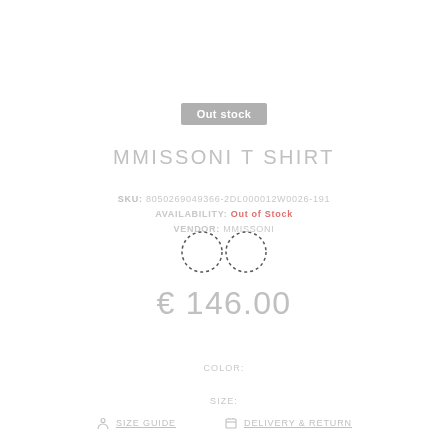Out stock
MMISSONI T SHIRT
SKU: 8050269049366-2DL000012W0026-191
AVAILABILITY: Out of Stock
VENDOR: MMISSONI
[Figure (illustration): Infinity symbol drawn with dotted/dashed lines]
€ 146.00
COLOR:
SIZE:
SIZE GUIDE
DELIVERY & RETURN